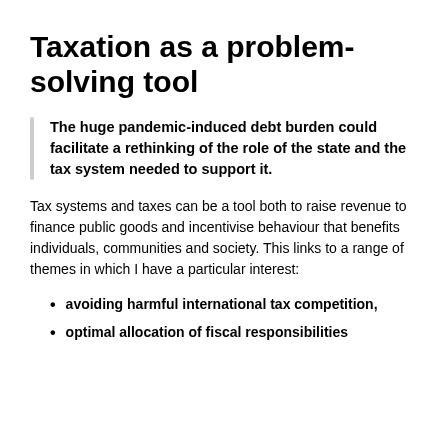Taxation as a problem-solving tool
The huge pandemic-induced debt burden could facilitate a rethinking of the role of the state and the tax system needed to support it.
Tax systems and taxes can be a tool both to raise revenue to finance public goods and incentivise behaviour that benefits individuals, communities and society. This links to a range of themes in which I have a particular interest:
avoiding harmful international tax competition,
optimal allocation of fiscal responsibilities